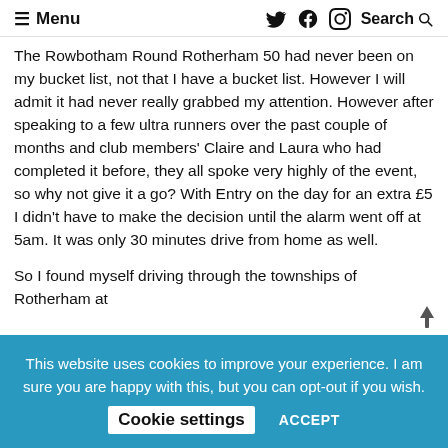≡ Menu  [twitter] [facebook] [instagram]  Search 🔍
The Rowbotham Round Rotherham 50 had never been on my bucket list, not that I have a bucket list. However I will admit it had never really grabbed my attention. However after speaking to a few ultra runners over the past couple of months and club members' Claire and Laura who had completed it before, they all spoke very highly of the event, so why not give it a go? With Entry on the day for an extra £5 I didn't have to make the decision until the alarm went off at 5am. It was only 30 minutes drive from home as well.
So I found myself driving through the townships of Rotherham at
This website uses cookies to improve your experience. I am sure you are happy with this, but you can opt-out if you wish.  Cookie settings  ACCEPT